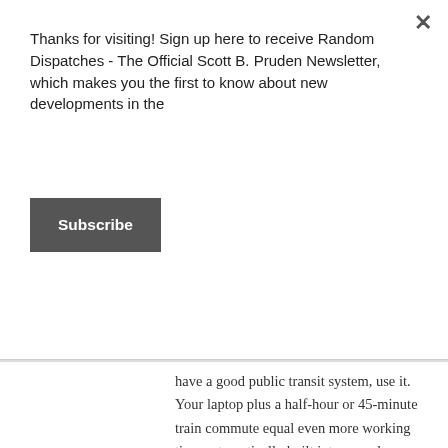Thanks for visiting! Sign up here to receive Random Dispatches - The Official Scott B. Pruden Newsletter, which makes you the first to know about new developments in the
Subscribe
have a good public transit system, use it. Your laptop plus a half-hour or 45-minute train commute equal even more working time automatically built into your day.  While I was finishing Immaculate Deception, my 45-minute train ride to my job in Philadelphia was gold – no family interruptions, no phone, no idle conversation – just